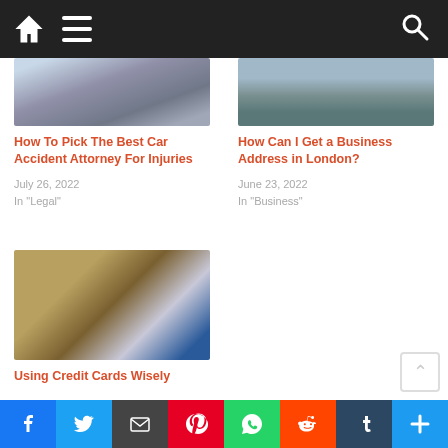Navigation bar with home, menu, and search icons
[Figure (photo): Car accident / legal related image (phones, documents)]
How To Pick The Best Car Accident Attorney For Injuries
July 26, 2022
In "Legal"
[Figure (photo): London business address image - river/bridge scene]
How Can I Get a Business Address in London?
June 23, 2022
In "Business"
[Figure (photo): Pile of credit cards including Visa and Mastercard]
Using Credit Cards Wisely
July 20, 2022
In "Finance"
Social share buttons: Facebook, Twitter, Email, Pinterest, WhatsApp, Reddit, Tumblr, More